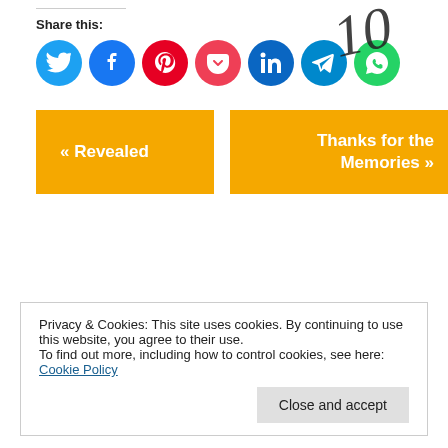[Figure (illustration): Cursive/handwritten decorative number or letter in top right corner]
Share this:
[Figure (infographic): Row of social media share buttons: Twitter (blue), Facebook (blue), Pinterest (red), Pocket (red/pink), LinkedIn (blue), Telegram (blue), WhatsApp (green)]
« Revealed
Thanks for the Memories »
Privacy & Cookies: This site uses cookies. By continuing to use this website, you agree to their use.
To find out more, including how to control cookies, see here:
Cookie Policy
Close and accept